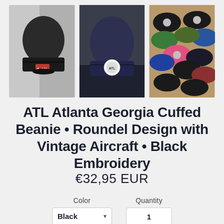[Figure (photo): Three product photos of beanies. Left: black cuffed beanie with red airplane patch shown from side. Center: navy blue cuffed beanie with circular roundel badge shown from side. Right: top-down view of assorted hats in various colors on a wooden surface.]
ATL Atlanta Georgia Cuffed Beanie • Roundel Design with Vintage Aircraft • Black Embroidery
€32,95 EUR
| Color | Quantity |
| --- | --- |
| Black ▼ | 1 |